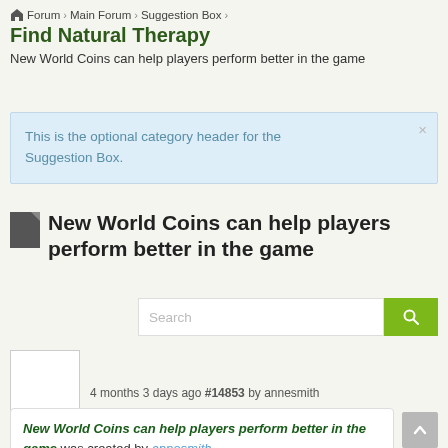Forum > Main Forum > Suggestion Box >
Find Natural Therapy
New World Coins can help players perform better in the game
This is the optional category header for the Suggestion Box.
New World Coins can help players perform better in the game
Search
[Figure (other): Avatar placeholder box]
4 months 3 days ago #14853 by annesmith
New World Coins can help players perform better in the game was created by annesmith